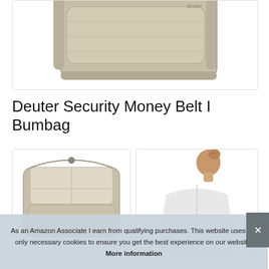[Figure (photo): Top portion of a metallic beige/champagne colored travel money belt or security wallet, shown against a white background inside a bordered box.]
Deuter Security Money Belt I Bumbag
[Figure (photo): Open metallic beige/champagne colored money belt bumbag showing interior compartment.]
[Figure (photo): Person wearing white shirt viewed from behind, with hair up, appearing to use or wear the money belt.]
As an Amazon Associate I earn from qualifying purchases. This website uses the only necessary cookies to ensure you get the best experience on our website. More information